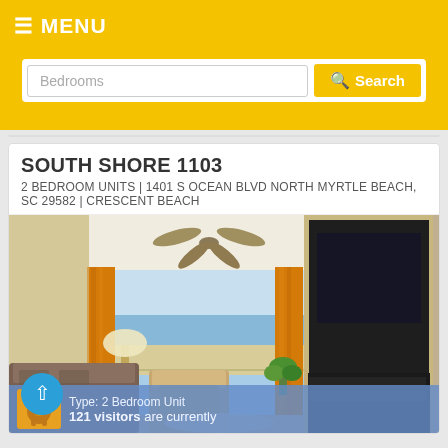≡ MENU
Bedrooms
Search
SOUTH SHORE 1103
2 BEDROOM UNITS | 1401 S OCEAN BLVD NORTH MYRTLE BEACH, SC 29582 | CRESCENT BEACH
[Figure (photo): Interior photo of a beachfront condo living room with orange curtains, ocean view, ceiling fan, sofa, armchair, lamp, large TV, and TV stand]
Type: 2 Bedroom Unit
121 visitors are currently